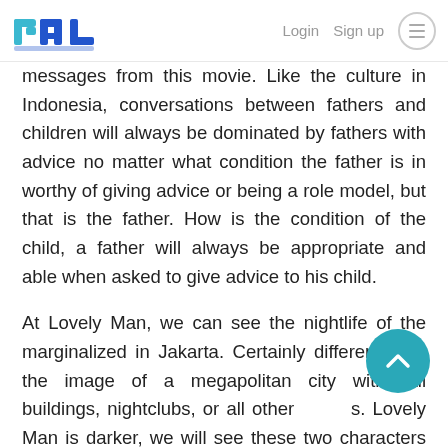PAL — Login  Sign up [menu]
messages from this movie. Like the culture in Indonesia, conversations between fathers and children will always be dominated by fathers with advice no matter what condition the father is in worthy of giving advice or being a role model, but that is the father. How is the condition of the child, a father will always be appropriate and able when asked to give advice to his child.
At Lovely Man, we can see the nightlife of the marginalized in Jakarta. Certainly different from the image of a megapolitan city with tall buildings, nightclubs, or all other [s]. Lovely Man is darker, we will see these two characters walking around the quiet night of